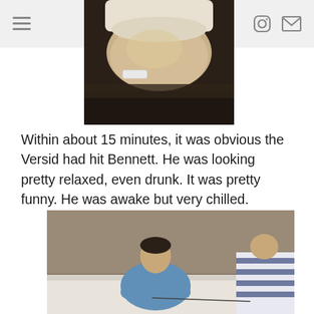[Figure (photo): Close-up photo of a person's arm or leg resting on a dark surface, with a medical wristband visible. The limb appears to belong to someone in a medical/hospital setting. The person is wearing a white short-sleeve shirt or gown.]
Within about 15 minutes, it was obvious the Versid had hit Bennett.  He was looking pretty relaxed, even drunk.  It was pretty funny.  He was awake but very chilled.
[Figure (photo): A man in a blue t-shirt leaning over a hospital bed with his arms folded on it, looking at a child or small person with a striped garment on the right side. The scene appears to be in a medical facility.]